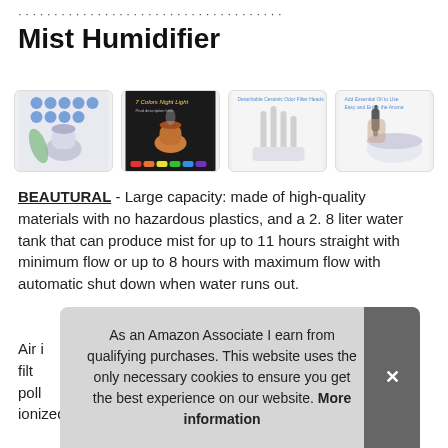Mist Humidifier
[Figure (photo): Four product images of a humidifier showing features: product overview with icons, 7 Colors Night Light feature, detachable ceramic odor filter heads, and essential oil add feature]
BEAUTURAL - Large capacity: made of high-quality materials with no hazardous plastics, and a 2. 8 liter water tank that can produce mist for up to 11 hours straight with minimum flow or up to 8 hours with maximum flow with automatic shut down when water runs out.
Air i filter polle ionized particles, to force them to drop out of the air.
As an Amazon Associate I earn from qualifying purchases. This website uses the only necessary cookies to ensure you get the best experience on our website. More information